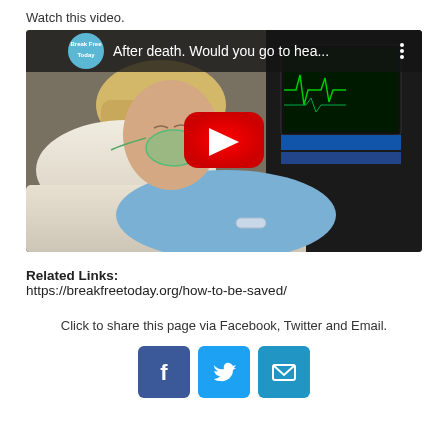Watch this video.
[Figure (screenshot): YouTube video thumbnail showing a woman in a hospital bed with an oxygen mask; video title reads 'After death. Would you go to hea...' with a red YouTube play button and a 'Break Free Today' circular logo in the top left corner.]
Related Links:
https://breakfreetoday.org/how-to-be-saved/
Click to share this page via Facebook, Twitter and Email.
[Figure (illustration): Three social media share icons: Facebook (blue with f), Twitter (blue with bird), Email (blue with envelope)]